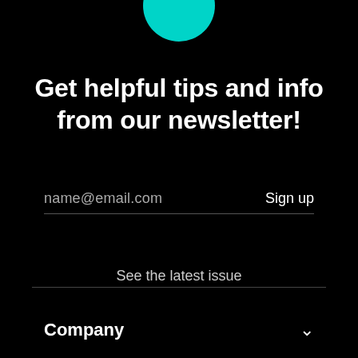[Figure (illustration): Teal circular arc decorative element at top center of page]
Get helpful tips and info from our newsletter!
name@email.com   Sign up
See the latest issue
Company